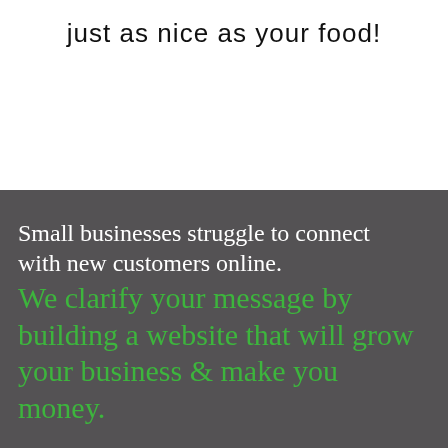just as nice as your food!
Small businesses struggle to connect with new customers online. We clarify your message by building a website that will grow your business & make you money.